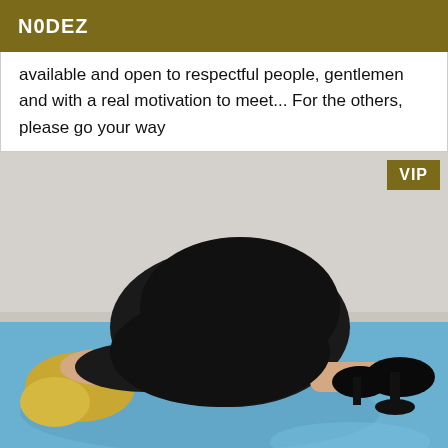N0DEZ
available and open to respectful people, gentlemen and with a real motivation to meet... For the others, please go your way
[Figure (photo): Woman lying face down on a blue bed wearing black clothing and black high heels, with blonde hair visible. A gold VIP badge is overlaid in the top right corner.]